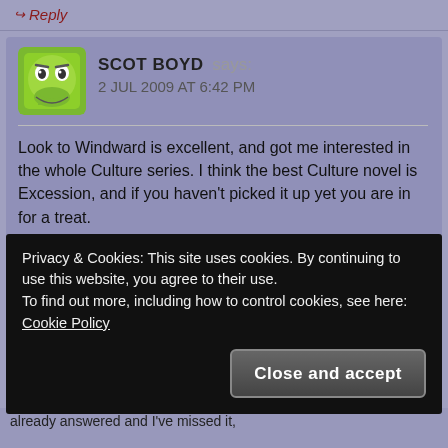Reply
SCOT BOYD says: 2 JUL 2009 AT 6:42 PM
Look to Windward is excellent, and got me interested in the whole Culture series. I think the best Culture novel is Excession, and if you haven't picked it up yet you are in for a treat.
Loading...
Reply
Privacy & Cookies: This site uses cookies. By continuing to use this website, you agree to their use.
To find out more, including how to control cookies, see here: Cookie Policy
Close and accept
already answered and I've missed it,